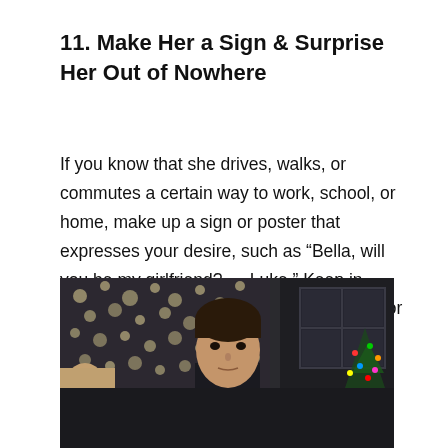11. Make Her a Sign & Surprise Her Out of Nowhere
If you know that she drives, walks, or commutes a certain way to work, school, or home, make up a sign or poster that expresses your desire, such as “Bella, will you be my girlfriend? — Luke.” Keep in mind, though, that this suggestion is best for extroverted women.
[Figure (photo): A man holding a white sign with handwritten text reading 'TO ME YOU ARE' in a scene reminiscent of a romantic movie, with bokeh lights and a Christmas tree in the background.]